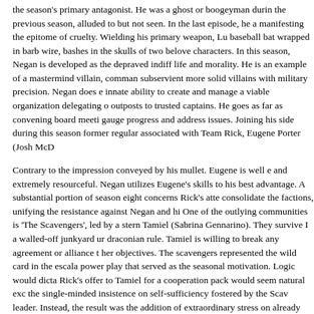the season's primary antagonist. He was a ghost or boogeyman during the previous season, alluded to but not seen. In the last episode, he appeared manifesting the epitome of cruelty. Wielding his primary weapon, Lucille, a baseball bat wrapped in barb wire, bashes in the skulls of two beloved characters. In this season, Negan is developed as the depraved indifference to life and morality. He is an example of a mastermind villain, commanding subservient more solid villains with military precision. Negan does exhibit an innate ability to create and manage a viable organization delegating control of outposts to trusted captains. He goes as far as convening board meetings to gauge progress and address issues. Joining his side during this season is a former regular associated with Team Rick, Eugene Porter (Josh McD...
Contrary to the impression conveyed by his mullet. Eugene is well educated and extremely resourceful. Negan utilizes Eugene's skills to his best advantage. A substantial portion of season eight concerns Rick's attempt to consolidate the factions, unifying the resistance against Negan and his clan. One of the outlying communities is 'The Scavengers', led by a stern Tamiel (Sabrina Gennarino). They survive I a walled-off junkyard under draconian rule. Tamiel is willing to break any agreement or alliance to achieve her objectives. The scavengers represented the wild card in the escalating power play that served as the seasonal motivation. Logic would dictate that Rick's offer to Tamiel for a cooperation pack would seem natural except for the single-minded insistence on self-sufficiency fostered by the Scavengers leader. Instead, the result was the addition of extraordinary stress on the already overwhelmed Rick.